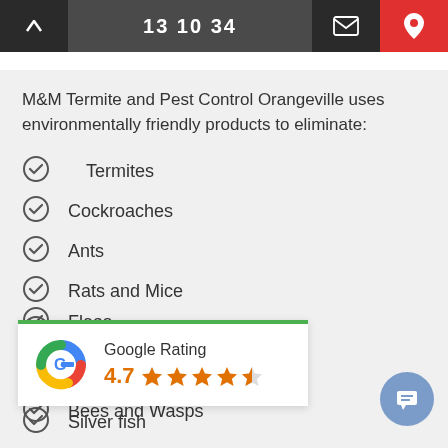13 10 34
M&M Termite and Pest Control Orangeville uses environmentally friendly products to eliminate:
Termites
Cockroaches
Ants
Rats and Mice
Spiders
Bed Bugs
Bees and Wasps
Fleas
[Figure (other): Google Rating widget showing 4.7 stars with Google G logo]
Silver fish